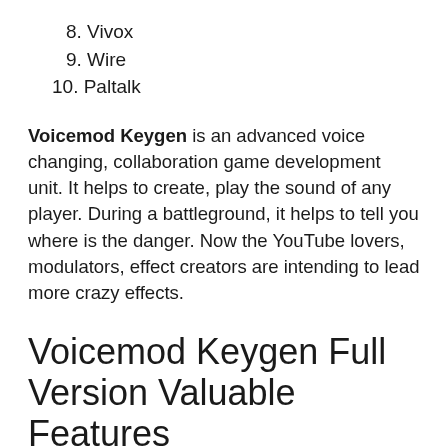8. Vivox
9. Wire
10. Paltalk
Voicemod Keygen is an advanced voice changing, collaboration game development unit. It helps to create, play the sound of any player. During a battleground, it helps to tell you where is the danger. Now the YouTube lovers, modulators, effect creators are intending to lead more crazy effects.
Voicemod Keygen Full Version Valuable Features
Get free latest sound enhancer, awesome voices, different parts, and a